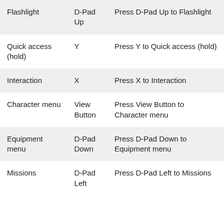| Flashlight | D-Pad Up | Press D-Pad Up to Flashlight |
| Quick access (hold) | Y | Press Y to Quick access (hold) |
| Interaction | X | Press X to Interaction |
| Character menu | View Button | Press View Button to Character menu |
| Equipment menu | D-Pad Down | Press D-Pad Down to Equipment menu |
| Missions | D-Pad Left | Press D-Pad Left to Missions |